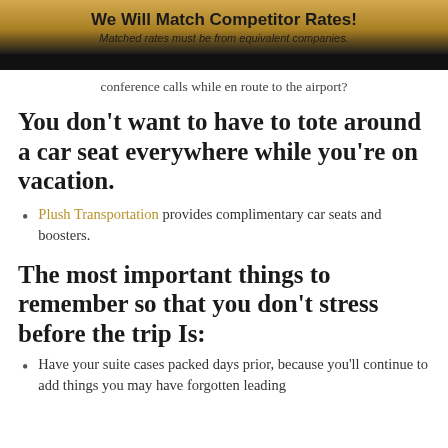We Will Match Competitor Rates!
Matched rates must be from equivalent companies.
conference calls while en route to the airport?
You don't want to have to tote around a car seat everywhere while you're on vacation.
Plush Transportation provides complimentary car seats and boosters.
The most important things to remember so that you don't stress before the trip Is:
Have your suite cases packed days prior, because you'll continue to add things you may have forgotten leading